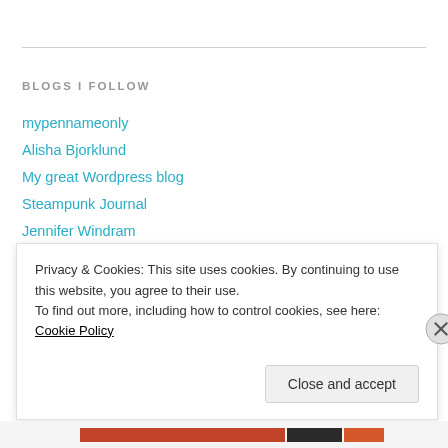BLOGS I FOLLOW
mypennameonly
Alisha Bjorklund
My great Wordpress blog
Steampunk Journal
Jennifer Windram
Steamworld
Sara C. Snider
Charlotte Hoather
Privacy & Cookies: This site uses cookies. By continuing to use this website, you agree to their use.
To find out more, including how to control cookies, see here: Cookie Policy
Close and accept